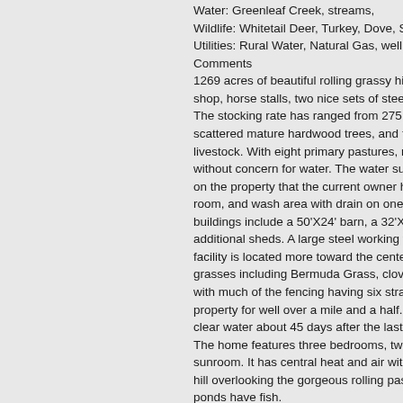Water: Greenleaf Creek, streams,
Wildlife: Whitetail Deer, Turkey, Dove, Squirrels,other
Utilities: Rural Water, Natural Gas, well, septic, electric
Comments
1269 acres of beautiful rolling grassy hills. This ranch feat shop, horse stalls, two nice sets of steel working pens, and m The stocking rate has ranged from 275 to 300 pair. The ra scattered mature hardwood trees, and tree lines along the c livestock. With eight primary pastures, multiple catch pens without concern for water. The water supply to the home is on the property that the current owner has not used. A 125 room, and wash area with drain on one end and a sho buildings include a 50'X24' barn, a 32'X26' barn, 30'X36' b additional sheds. A large steel working facility is at the he facility is located more toward the center of the ranch. Th grasses including Bermuda Grass, clovers, Fescue and Nat with much of the fencing having six strands of barbed w property for well over a mile and a half. It is believed this cre clear water about 45 days after the last rain.
The home features three bedrooms, two full bathrooms, an sunroom. It has central heat and air with natural gas piped t hill overlooking the gorgeous rolling pastures, with mounta ponds have fish.
Even though there is not a lot of wooded area on the ranch to allow cover for deer to come through the ranch. The neig Management Area, having several hundred acres of forest. on the property. The owners are cultivating the turkey popu ownership, and a flock was sighted during the listing tour.
Access is via a paved county road about 25 minutes from T Cherokee County is about 48 inches.